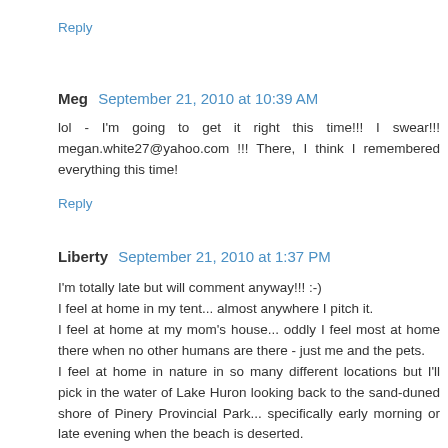Reply
Meg  September 21, 2010 at 10:39 AM
lol - I'm going to get it right this time!!! I swear!!! megan.white27@yahoo.com !!! There, I think I remembered everything this time!
Reply
Liberty  September 21, 2010 at 1:37 PM
I'm totally late but will comment anyway!!! :-)
I feel at home in my tent... almost anywhere I pitch it.
I feel at home at my mom's house... oddly I feel most at home there when no other humans are there - just me and the pets.
I feel at home in nature in so many different locations but I'll pick in the water of Lake Huron looking back to the sand-duned shore of Pinery Provincial Park... specifically early morning or late evening when the beach is deserted.